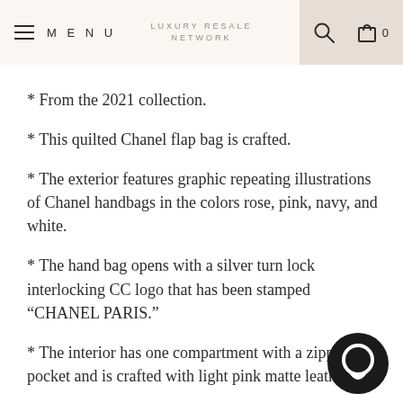MENU | LUXURY RESALE NETWORK | 0
* From the 2021 collection.
* This quilted Chanel flap bag is crafted.
* The exterior features graphic repeating illustrations of Chanel handbags in the colors rose, pink, navy, and white.
* The hand bag opens with a silver turn lock interlocking CC logo that has been stamped "CHANEL PARIS."
* The interior has one compartment with a zipper pocket and is crafted with light pink matte leather.
* Has an exterior pocket that snaps close on the backside.
* The strap contains a navy leather shoulder pad and silver chain with navy leather intertwined. It can be worn as a